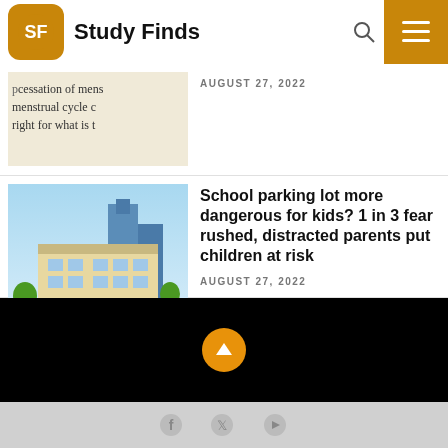Study Finds
[Figure (screenshot): Partial article thumbnail showing text about cessation of menstrual cycle]
AUGUST 27, 2022
[Figure (illustration): Illustration of school building with children in parking lot, cars, and a van]
School parking lot more dangerous for kids? 1 in 3 fear rushed, distracted parents put children at risk
AUGUST 27, 2022
Social media icons: Facebook, Twitter, YouTube